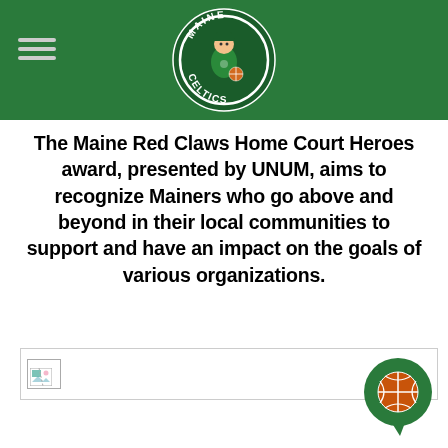Maine Celtics header with logo
The Maine Red Claws Home Court Heroes award, presented by UNUM, aims to recognize Mainers who go above and beyond in their local communities to support and have an impact on the goals of various organizations.
[Figure (photo): Broken/missing image placeholder]
[Figure (logo): Maine Red Claws basketball logo in bottom right corner]